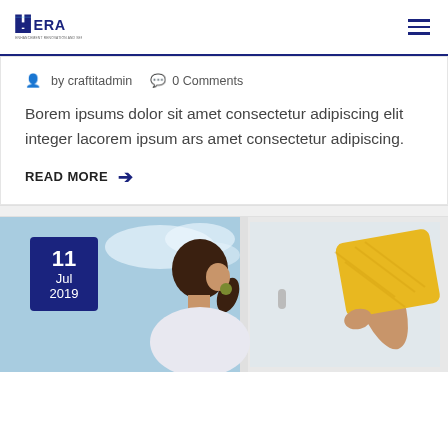44ERA logo | hamburger menu
by craftitadmin   0 Comments
Borem ipsums dolor sit amet consectetur adipiscing elit integer lacorem ipsum ars amet consectetur adipiscing.
READ MORE →
[Figure (photo): Woman cleaning a window with a yellow cloth, blue sky background. Date badge shows 11 Jul 2019.]